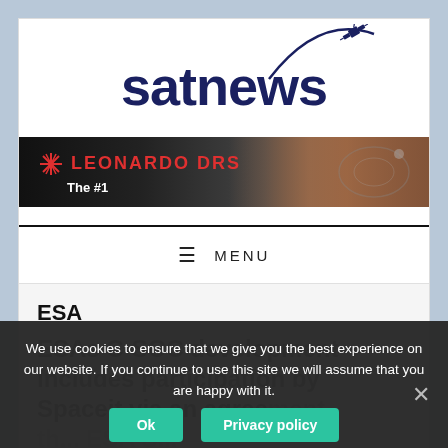[Figure (logo): Satnews logo with satellite graphic arc and satellite icon]
[Figure (photo): Leonardo DRS banner advertisement with The #1 tagline, dark background with satellite imagery]
≡  MENU
ESA
ESAs C-SOC development includes participation by Spaceit via an agreement th... FESA...
We use cookies to ensure that we give you the best experience on our website. If you continue to use this site we will assume that you are happy with it.
Ok   Privacy policy